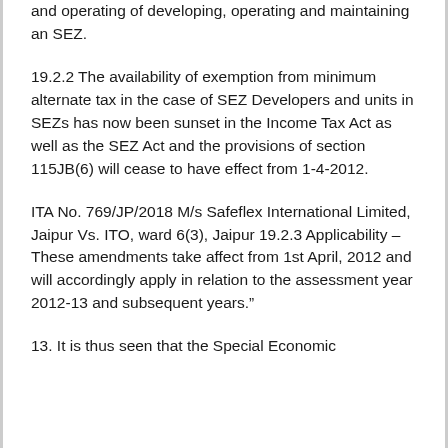and operating of developing, operating and maintaining an SEZ.
19.2.2 The availability of exemption from minimum alternate tax in the case of SEZ Developers and units in SEZs has now been sunset in the Income Tax Act as well as the SEZ Act and the provisions of section 115JB(6) will cease to have effect from 1-4-2012.
ITA No. 769/JP/2018 M/s Safeflex International Limited, Jaipur Vs. ITO, ward 6(3), Jaipur 19.2.3 Applicability – These amendments take affect from 1st April, 2012 and will accordingly apply in relation to the assessment year 2012-13 and subsequent years."
13. It is thus seen that the Special Economic